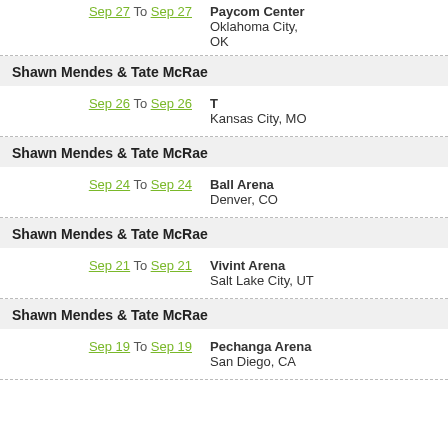Sep 27 To Sep 27 — Paycom Center, Oklahoma City, OK
Shawn Mendes & Tate McRae
Sep 26 To Sep 26 — T, Kansas City, MO
Shawn Mendes & Tate McRae
Sep 24 To Sep 24 — Ball Arena, Denver, CO
Shawn Mendes & Tate McRae
Sep 21 To Sep 21 — Vivint Arena, Salt Lake City, UT
Shawn Mendes & Tate McRae
Sep 19 To Sep 19 — Pechanga Arena, San Diego, CA